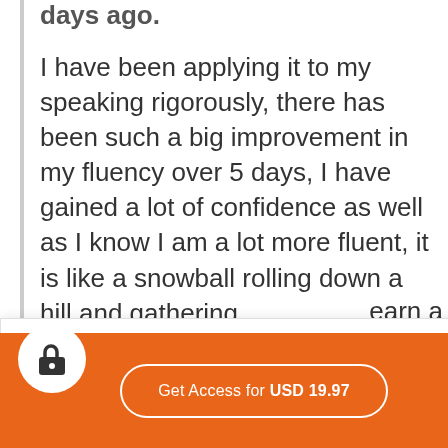days ago.
I have been applying it to my speaking rigorously, there has been such a big improvement in my fluency over 5 days, I have gained a lot of confidence as well as I know I am a lot more fluent, it is like a snowball rolling down a hill and gathering
earn a
Can we store cookies?
We use cookies to improve your browsing experience on our site.
uch for
tion to
m
Customize
No
Yes
available.
Get Access for USD 19.97